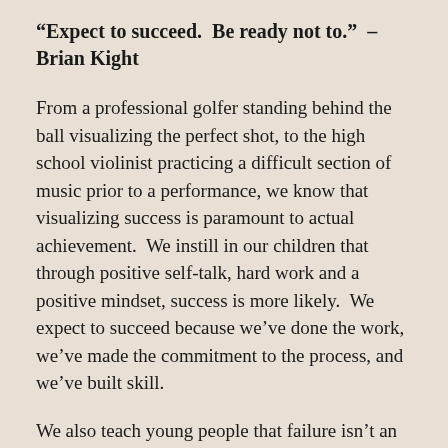“Expect to succeed.  Be ready not to.” – Brian Kight
From a professional golfer standing behind the ball visualizing the perfect shot, to the high school violinist practicing a difficult section of music prior to a performance, we know that visualizing success is paramount to actual achievement.  We instill in our children that through positive self-talk, hard work and a positive mindset, success is more likely.  We expect to succeed because we’ve done the work, we’ve made the commitment to the process, and we’ve built skill.
We also teach young people that failure isn’t an end, but a step along our journey.  When we